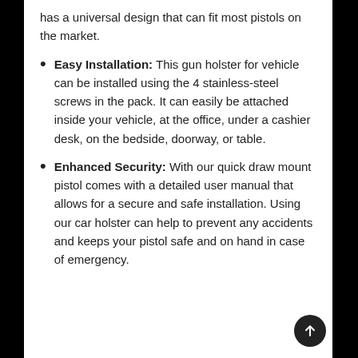has a universal design that can fit most pistols on the market.
Easy Installation: This gun holster for vehicle can be installed using the 4 stainless-steel screws in the pack. It can easily be attached inside your vehicle, at the office, under a cashier desk, on the bedside, doorway, or table.
Enhanced Security: With our quick draw mount pistol comes with a detailed user manual that allows for a secure and safe installation. Using our car holster can help to prevent any accidents and keeps your pistol safe and on hand in case of emergency.